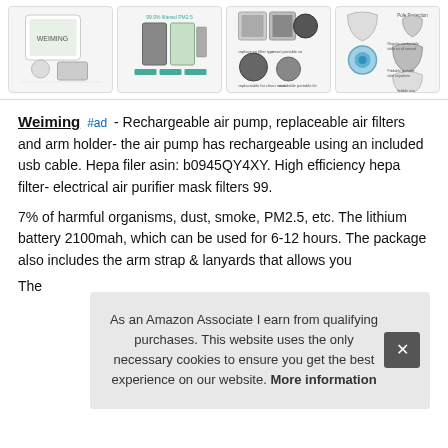[Figure (photo): Strip of four product thumbnail images showing air purifier mask components and accessories]
Weiming #ad - Rechargeable air pump, replaceable air filters and arm holder- the air pump has rechargeable using an included usb cable. Hepa filer asin: b0945QY4XY. High efficiency hepa filter- electrical air purifier mask filters 99.
7% of harmful organisms, dust, smoke, PM2.5, etc. The lithium battery 2100mah, which can be used for 6-12 hours. The package also includes the arm strap & lanyards that allows you
As an Amazon Associate I earn from qualifying purchases. This website uses the only necessary cookies to ensure you get the best experience on our website. More information
The